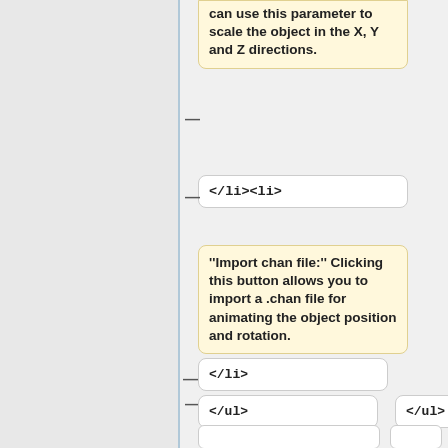scale the object in the X, Y and Z directions.
</li><li>
"""Import chan file:""" Clicking this button allows you to import a .chan file for animating the object position and rotation.
</li>
</ul>
</ul>